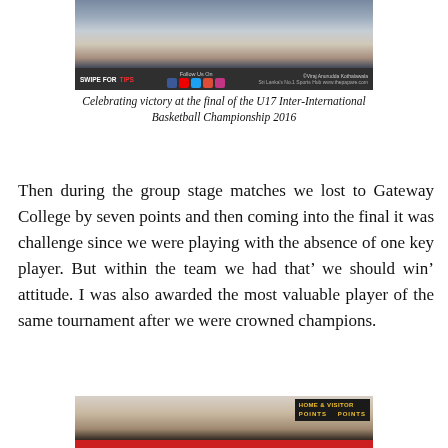[Figure (photo): Basketball players celebrating at a tournament, feet and legs visible on court floor]
Celebrating victory at the final of the U17 Inter-International Basketball Championship 2016
Then during the group stage matches we lost to Gateway College by seven points and then coming into the final it was challenge since we were playing with the absence of one key player. But within the team we had that’ we should win’ attitude. I was also awarded the most valuable player of the same tournament after we were crowned champions.
[Figure (photo): Basketball players in a team huddle or group setting with a scoreboard visible showing HOME & VISITOR points]